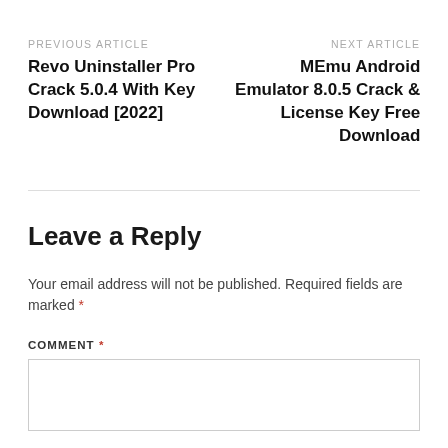PREVIOUS ARTICLE
Revo Uninstaller Pro Crack 5.0.4 With Key Download [2022]
NEXT ARTICLE
MEmu Android Emulator 8.0.5 Crack & License Key Free Download
Leave a Reply
Your email address will not be published. Required fields are marked *
COMMENT *